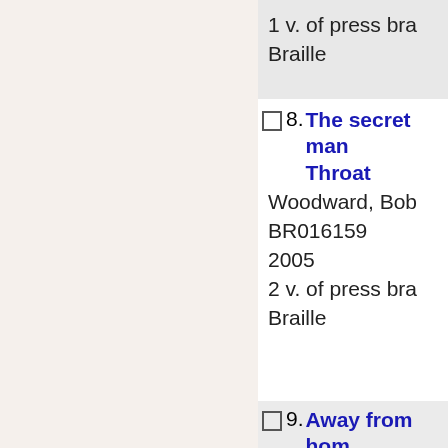1 v. of press braille
Braille
8. The secret man... Throat
Woodward, Bob
BR016159
2005
2 v. of press braille
Braille
9. Away from home...
Carter, Lillian.
BR003848
1977
1 v. of press braille
Braille
10. Who was first?
Freedman, Russ...
BR017557
2007